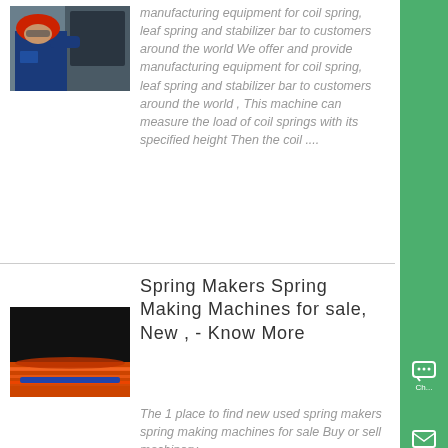[Figure (photo): Worker in red helmet and blue uniform operating machinery]
manufacturing equipment for coil spring, leaf spring and stabilizer bar to customers around the world We offer and provide manufacturing equipment for coil spring, leaf spring and stabilizer bar to customers around the world , This machine can measure the load of coil springs with its specified height Then the coil ....
[Figure (photo): Close-up of spring or coil machinery with orange and dark surfaces]
Spring Makers Spring Making Machines for sale, New , - Know More
The 1 place to find new used spring makers spring making machines for sale Buy or sell machinery